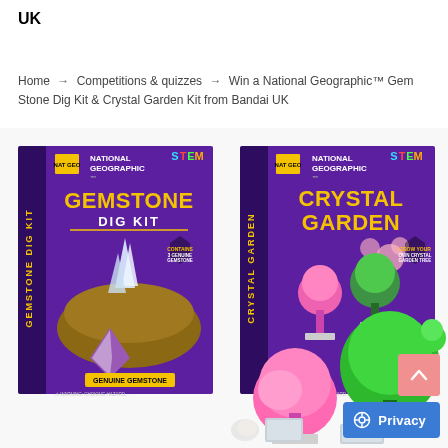UK
Home → Competitions & quizzes → Win a National Geographic™ Gem Stone Dig Kit & Crystal Garden Kit from Bandai UK
[Figure (photo): Two National Geographic STEM product boxes: Gemstone Dig Kit (purple box with gemstone images) and Crystal Garden Kit (purple box with crystal garden images), alongside crystal garden results showing pink and green crystal trees.]